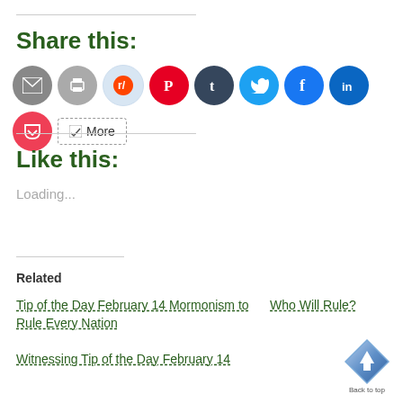Share this:
[Figure (infographic): Row of social sharing icon buttons: Email, Print, Reddit, Pinterest, Tumblr, Twitter, Facebook, LinkedIn, Pocket, and a More button]
Like this:
Loading...
Related
Tip of the Day February 14 Mormonism to Rule Every Nation
Who Will Rule?
Witnessing Tip of the Day February 14
[Figure (illustration): Back to top button — blue diamond/shield shape with upward arrow]